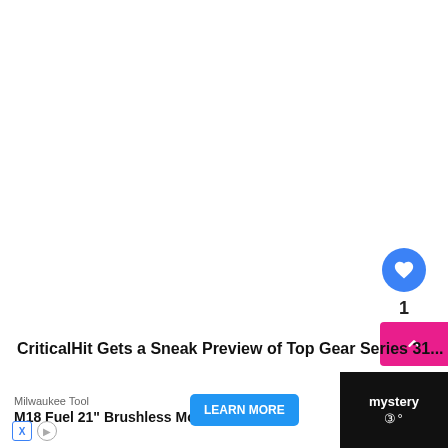[Figure (screenshot): Large white empty area — top portion of a web page article view with no visible content]
[Figure (other): Blue circular like/heart button with heart icon and count of 1 below it, and a pink share/arrow-up action button]
CriticalHit Gets a Sneak Preview of Top Gear Series 31...
[Figure (other): What's Next panel: circular Super Meat Boy character icon, label 'WHAT'S NEXT →', text 'Super Meat Boy devs tro...']
[Figure (screenshot): Advertisement bar at bottom: Milwaukee Tool / M18 Fuel 21" Brushless Mower with LEARN MORE button, ad icons X and arrow, and mystery text on dark right side]